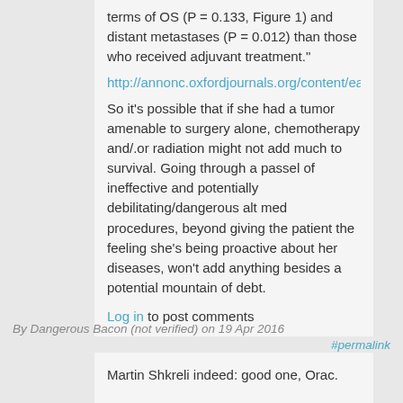terms of OS (P = 0.133, Figure 1) and distant metastases (P = 0.012) than those who received adjuvant treatment."
http://annonc.oxfordjournals.org/content/early/2010/08/17/
So it's possible that if she had a tumor amenable to surgery alone, chemotherapy and/.or radiation might not add much to survival. Going through a passel of ineffective and potentially debilitating/dangerous alt med procedures, beyond giving the patient the feeling she's being proactive about her diseases, won't add anything besides a potential mountain of debt.
Log in to post comments
By Dangerous Bacon (not verified) on 19 Apr 2016
#permalink
Martin Shkreli indeed: good one, Orac.